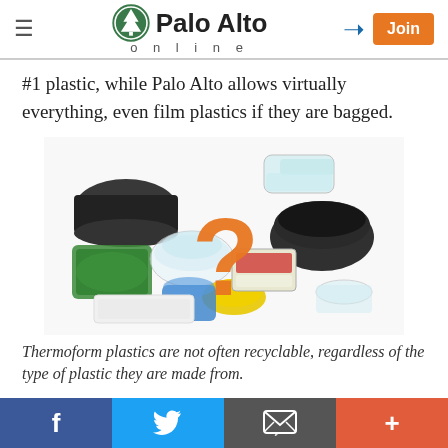Palo Alto online
#1 plastic, while Palo Alto allows virtually everything, even film plastics if they are bagged.
[Figure (photo): A collection of various thermoform plastic containers and packaging items piled together, with a large orange question mark overlaid on top.]
Thermoform plastics are not often recyclable, regardless of the type of plastic they are made from.
f  [Twitter bird]  [Email icon]  +